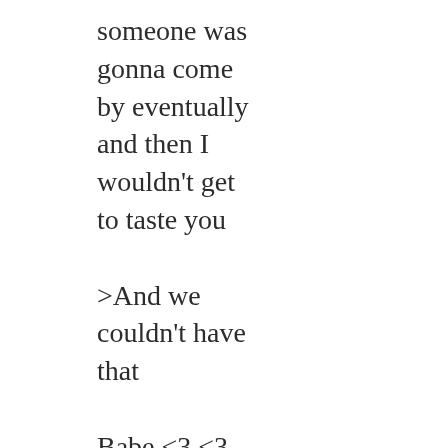someone was gonna come by eventually and then I wouldn't get to taste you

>And we couldn't have that

Babe <3 <3 <3: Good thing the Rat guys were so
busy